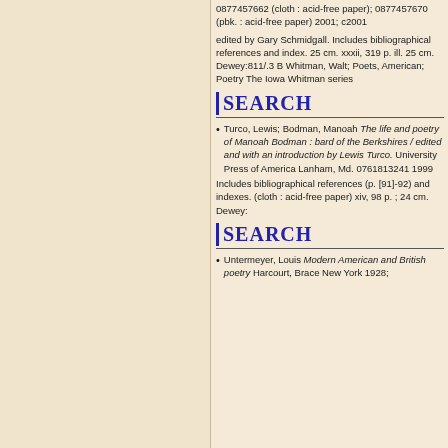0877457662 (cloth : acid-free paper); 0877457670 (pbk. : acid-free paper) 2001; c2001
edited by Gary Schmidgall. Includes bibliographical references and index. 25 cm. xxxii, 319 p. ill. 25 cm. Dewey:811/.3 B Whitman, Walt; Poets, American; Poetry The Iowa Whitman series
SEARCH
Turco, Lewis; Bodman, Manoah The life and poetry of Manoah Bodman : bard of the Berkshires / edited and with an introduction by Lewis Turco. University Press of America Lanham, Md. 0761813241 1999
Includes bibliographical references (p. [91]-92) and indexes. (cloth : acid-free paper) xiv, 98 p. ; 24 cm. Dewey:
SEARCH
Untermeyer, Louis Modern American and British poetry Harcourt, Brace New York 1928;